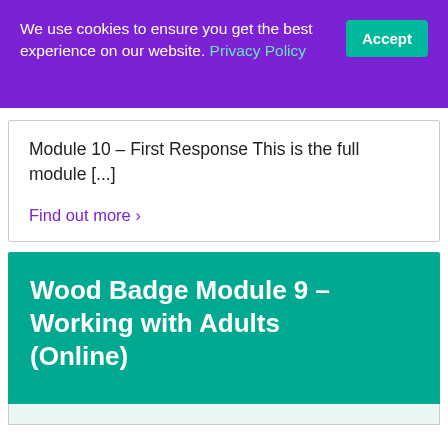We use cookies to ensure you get the best experience on our website. Privacy Policy  Accept
Module 10 – First Response This is the full module [...]
Find out more ›
Wood Badge Module 9 – Working with Adults (Online)